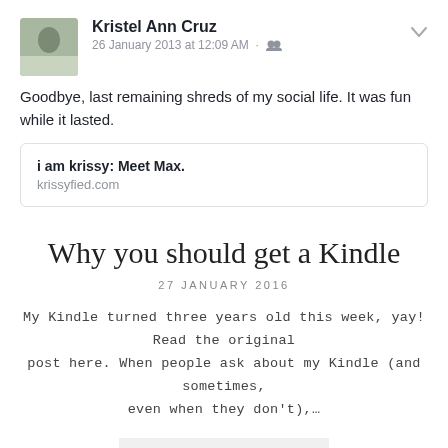[Figure (photo): Profile photo of Kristel Ann Cruz]
Kristel Ann Cruz
26 January 2013 at 12:09 AM · [friends icon]
Goodbye, last remaining shreds of my social life. It was fun while it lasted.
i am krissy: Meet Max.
krissyfied.com
Why you should get a Kindle
27 JANUARY 2016
My Kindle turned three years old this week, yay! Read the original post here. When people ask about my Kindle (and sometimes, even when they don't),…
READ MORE